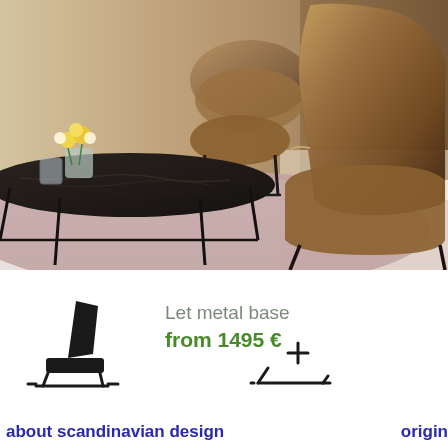[Figure (photo): Interior living room scene showing two bouclé lounge chairs in warm brown/tan fabric with black metal legs, a black marble coffee table with flowers in a glass vase, pink/mauve carpet, and wood-paneled wall in background]
[Figure (illustration): Small black silhouette icon of a lounge chair (side view) with metal sled base]
Let metal base
from 1495 €
[Figure (illustration): Small black icon of a metal sled/frame base component with a '+' symbol]
about scandinavian design
origin